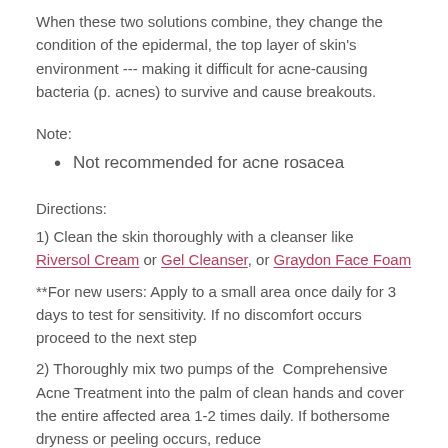When these two solutions combine, they change the condition of the epidermal, the top layer of skin's environment --- making it difficult for acne-causing bacteria (p. acnes) to survive and cause breakouts.
Note:
Not recommended for acne rosacea
Directions:
1) Clean the skin thoroughly with a cleanser like Riversol Cream or Gel Cleanser, or Graydon Face Foam
**For new users: Apply to a small area once daily for 3 days to test for sensitivity. If no discomfort occurs proceed to the next step
2) Thoroughly mix two pumps of the Comprehensive Acne Treatment into the palm of clean hands and cover the entire affected area 1-2 times daily. If bothersome dryness or peeling occurs, reduce application...